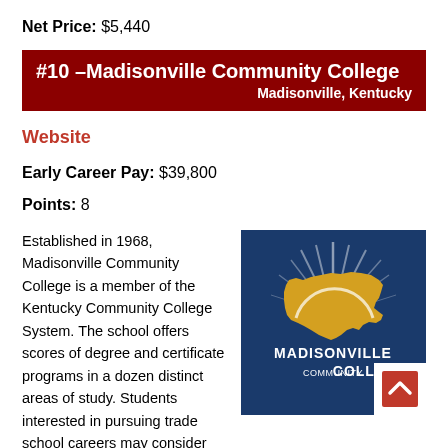Net Price: $5,440
#10 –Madisonville Community College Madisonville, Kentucky
Website
Early Career Pay: $39,800
Points: 8
Established in 1968, Madisonville Community College is a member of the Kentucky Community College System. The school offers scores of degree and certificate programs in a dozen distinct areas of study. Students interested in pursuing trade school careers may consider options in Advanced Integrated Manufacturing, Air
[Figure (logo): Madisonville Community College logo on blue background with Kentucky state outline in gold and rays of light, white text reading MADISONVILLE COMMUNITY COLLEGE]